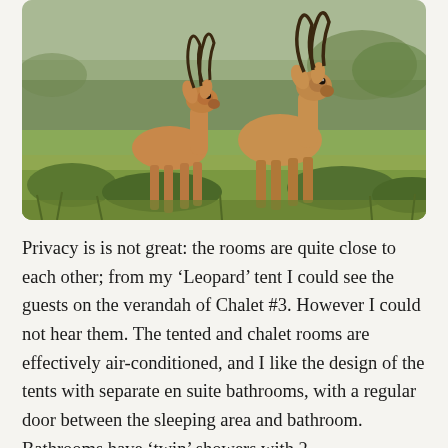[Figure (photo): Two impalas (antelope) with curved horns standing in savanna grassland with green-grey scrub vegetation in the background. The animals are reddish-brown in color, facing the camera.]
Privacy is is not great: the rooms are quite close to each other; from my ‘Leopard’ tent I could see the guests on the verandah of Chalet #3. However I could not hear them. The tented and chalet rooms are effectively air-conditioned, and I like the design of the tents with separate en suite bathrooms, with a regular door between the sleeping area and bathroom. Bathrooms have ‘twin’ showers with 2